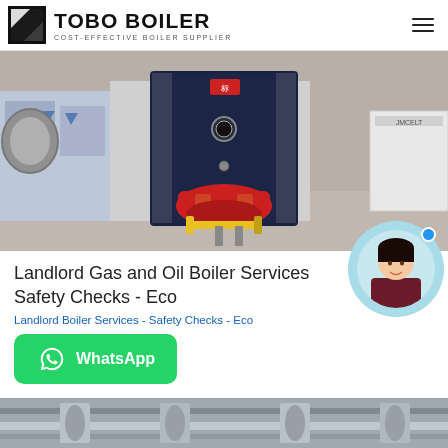TOBO BOILER — COST-EFFECTIVE BOILER SUPPLIER
[Figure (photo): Industrial gas/oil boiler unit with red burner head and yellow gas pipe, standing in a warehouse/factory setting with blue-white packaging materials in background]
Landlord Gas and Oil Boiler Services Safety Checks - Eco
Landlord Boiler Services - Safety Checks - Eco
[Figure (photo): WhatsApp contact button with green background and WhatsApp logo]
[Figure (photo): Bottom strip showing partial view of industrial boiler or piping equipment]